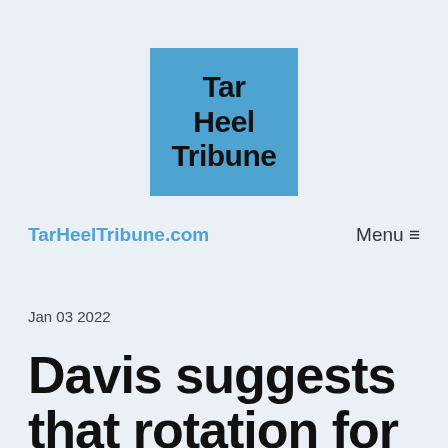[Figure (logo): Tar Heel Tribune logo — blue square with bold black text reading 'Tar Heel Tribune']
TarHeelTribune.com
Menu ≡
Jan 03 2022
Davis suggests that rotation for